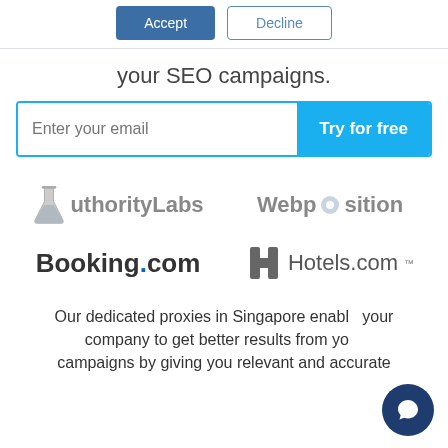[Figure (other): Accept and Decline buttons for cookie/consent dialog]
your SEO campaigns.
[Figure (other): Email input field with 'Enter your email' placeholder and 'Try for free' blue button]
[Figure (logo): AuthorityLabs logo (flask icon + text), Webposition logo, Booking.com logo, Hotels.com logo — four partner logos in a 2x2 grid]
Our dedicated proxies in Singapore enable your company to get better results from your campaigns by giving you relevant and accurate